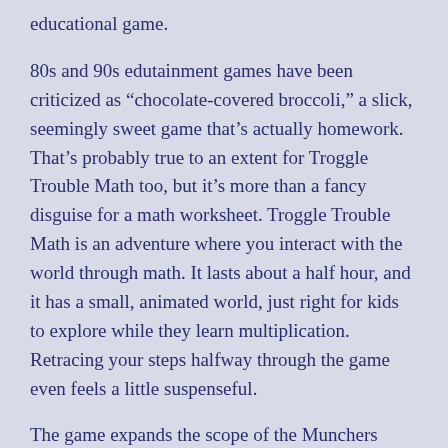educational game.
80s and 90s edutainment games have been criticized as “chocolate-covered broccoli,” a slick, seemingly sweet game that’s actually homework. That’s probably true to an extent for Troggle Trouble Math too, but it’s more than a fancy disguise for a math worksheet. Troggle Trouble Math is an adventure where you interact with the world through math. It lasts about a half hour, and it has a small, animated world, just right for kids to explore while they learn multiplication. Retracing your steps halfway through the game even feels a little suspenseful.
The game expands the scope of the Munchers series, and with new characters and places come new, slightly awkward contexts for playing with numbers.